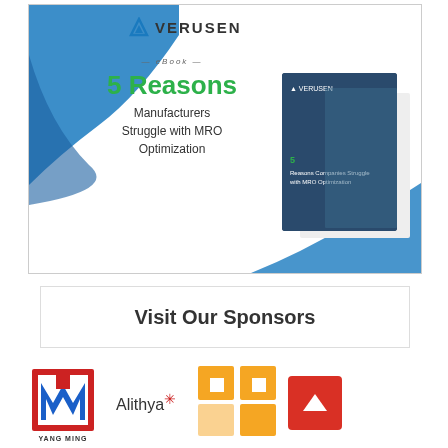[Figure (illustration): Verusen eBook advertisement: '5 Reasons Manufacturers Struggle with MRO Optimization' with blue wave design and book cover image showing a person in a warehouse]
Visit Our Sponsors
[Figure (logo): Yang Ming logo - red/white/blue M shape]
[Figure (logo): Alithya logo with asterisk]
[Figure (logo): Orange puzzle-piece style logo]
[Figure (illustration): Red scroll-to-top button with white arrow]